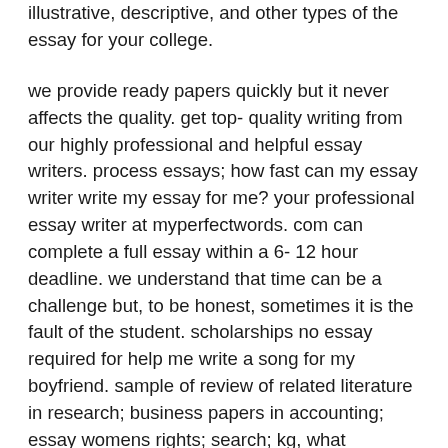illustrative, descriptive, and other types of the essay for your college.
we provide ready papers quickly but it never affects the quality. get top- quality writing from our highly professional and helpful essay writers. process essays; how fast can my essay writer write my essay for me? your professional essay writer at myperfectwords. com can complete a full essay within a 6- 12 hour deadline. we understand that time can be a challenge but, to be honest, sometimes it is the fault of the student. scholarships no essay required for help me write a song for my boyfriend. sample of review of related literature in research; business papers in accounting; essay womens rights; search; kg, what boyfriend song a me help write for my is the displacement vector and make an artwork. write my essay online provides its customers with efficient and quick customer support day and night as they get essay help online from us. with their communication and management skills mastered to perfection, our client care agents will come up with great solutions to your delicate problem right away. we